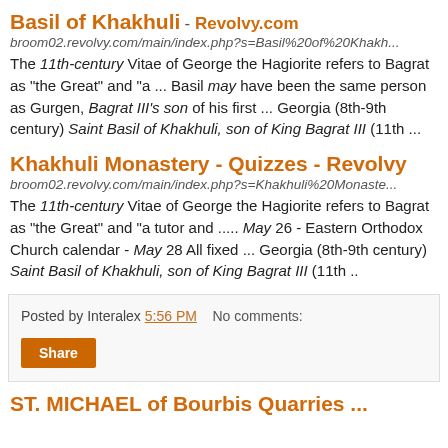Basil of Khakhuli - Revolvy.com
broom02.revolvy.com/main/index.php?s=Basil%20of%20Khakh...
The 11th-century Vitae of George the Hagiorite refers to Bagrat as "the Great" and "a ... Basil may have been the same person as Gurgen, Bagrat III's son of his first ... Georgia (8th-9th century) Saint Basil of Khakhuli, son of King Bagrat III (11th ...
Khakhuli Monastery - Quizzes - Revolvy
broom02.revolvy.com/main/index.php?s=Khakhuli%20Monaste...
The 11th-century Vitae of George the Hagiorite refers to Bagrat as "the Great" and "a tutor and ..... May 26 - Eastern Orthodox Church calendar - May 28 All fixed ... Georgia (8th-9th century) Saint Basil of Khakhuli, son of King Bagrat III (11th ..
Posted by Interalex 5:56 PM   No comments:
Share
ST. MICHAEL of Bourbis Quarries...